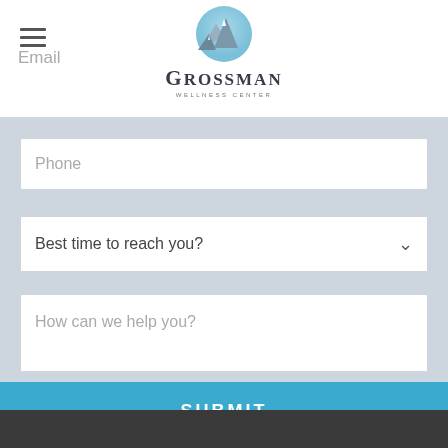[Figure (logo): Grossman Wellness Center logo with mountain graphic above the text GROSSMAN WELLNESS CENTER]
Email (partial, cropped)
Phone
Best time to reach you?
How can we help you?
SUBMIT